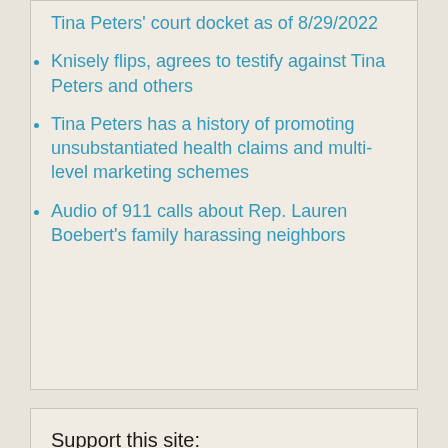Tina Peters' court docket as of 8/29/2022
Knisely flips, agrees to testify against Tina Peters and others
Tina Peters has a history of promoting unsubstantiated health claims and multi-level marketing schemes
Audio of 911 calls about Rep. Lauren Boebert's family harassing neighbors
Support this site: